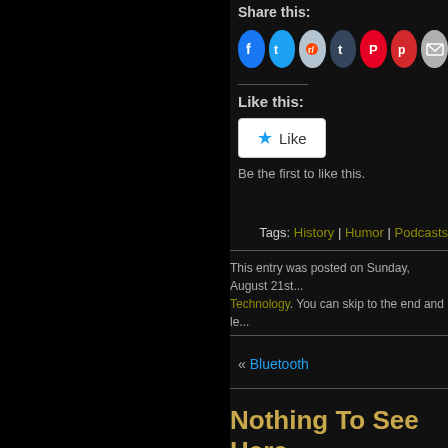Share this:
[Figure (other): Social sharing icons: Facebook, Twitter, Reddit, Tumblr, Pinterest, Pocket, Email]
Like this:
[Figure (other): Like button widget with star icon]
Be the first to like this.
Tags: History | Humor | Podcasts
This entry was posted on Sunday, August 21st... Technology. You can skip to the end and le...
« Bluetooth
Nothing To See Here
[Figure (photo): Thumbnail image below 'Nothing To See Here' heading]